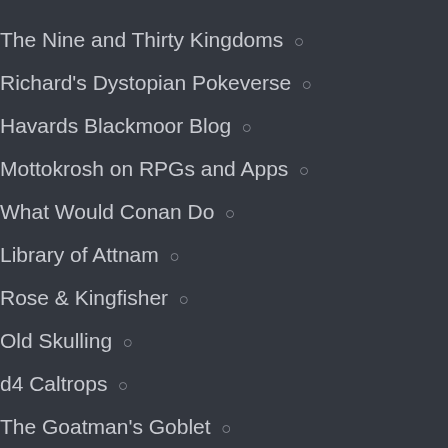The Nine and Thirty Kingdoms ○
Richard's Dystopian Pokeverse ○
Havards Blackmoor Blog ○
Mottokrosh on RPGs and Apps ○
What Would Conan Do ○
Library of Attnam ○
Rose & Kingfisher ○
Old Skulling ○
d4 Caltrops ○
The Goatman's Goblet ○
Dyson's Dodecahedron ○
The Trollish Delver ○
Dragon Bones and Rusted Armor ○